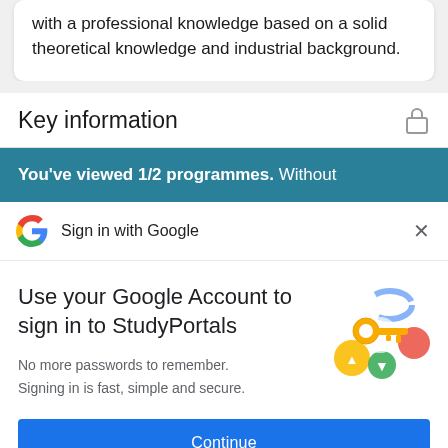with a professional knowledge based on a solid theoretical knowledge and industrial background.
Key information
You've viewed 1/2 programmes. Without
Sign in with Google
Use your Google Account to sign in to StudyPortals
No more passwords to remember.
Signing in is fast, simple and secure.
[Figure (illustration): Google sign-in illustration showing a golden key with colorful circular icons around it (blue arc, yellow circle, green arrow, red/pink circle)]
Continue